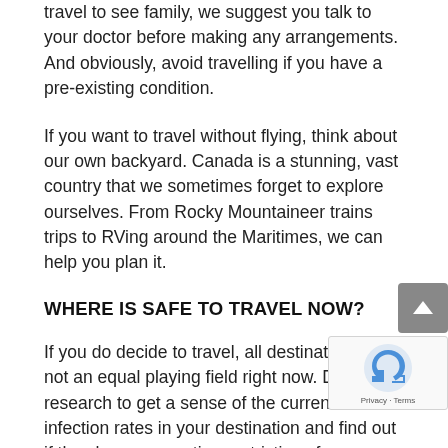travel to see family, we suggest you talk to your doctor before making any arrangements. And obviously, avoid travelling if you have a pre-existing condition.
If you want to travel without flying, think about our own backyard. Canada is a stunning, vast country that we sometimes forget to explore ourselves. From Rocky Mountaineer trains trips to RVing around the Maritimes, we can help you plan it.
WHERE IS SAFE TO TRAVEL NOW?
If you do decide to travel, all destinations are not an equal playing field right now. Do your research to get a sense of the current infection rates in your destination and find out if they have quarantine restrictions for travellers arriving from Canada.
Look for destinations with low infection rates, where...